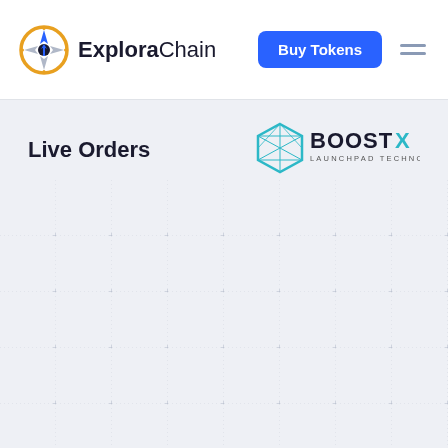[Figure (logo): ExploraChain logo with compass icon and text 'ExploraChain']
[Figure (other): Buy Tokens button (blue rounded rectangle) and hamburger menu icon]
Live Orders
[Figure (logo): BoostX Launchpad Technology logo — teal hexagon with geometric pattern and text 'BOOSTX LAUNCHPAD TECHNOLOGY']
[Figure (other): Grid background with dotted crosshatch pattern on light gray background]